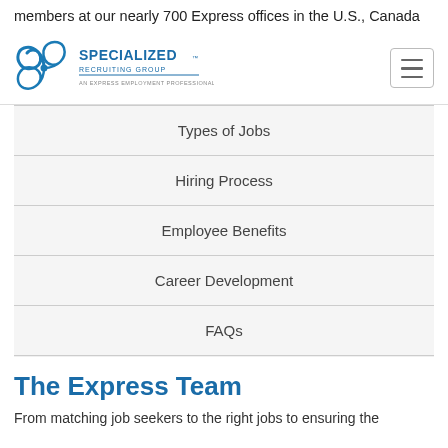members at our nearly 700 Express offices in the U.S., Canada
[Figure (logo): Specialized Recruiting Group - An Express Employment Professionals Company logo]
Types of Jobs
Hiring Process
Employee Benefits
Career Development
FAQs
The Express Team
From matching job seekers to the right jobs to ensuring the